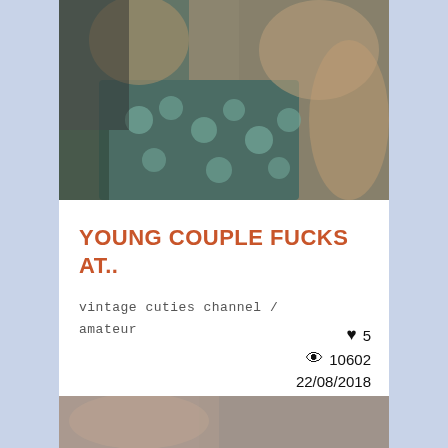[Figure (photo): Video thumbnail showing a vintage couple, blurry close-up scene with teal/floral fabric]
YOUNG COUPLE FUCKS AT..
vintage cuties channel / amateur
♥ 5  👁 10602  22/08/2018
[Figure (photo): Partial thumbnail of another video at bottom of page]